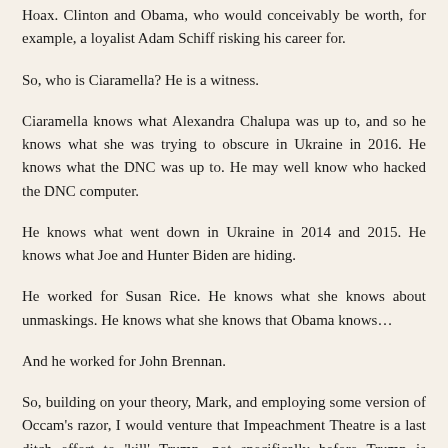Hoax. Clinton and Obama, who would conceivably be worth, for example, a loyalist Adam Schiff risking his career for.
So, who is Ciaramella? He is a witness.
Ciaramella knows what Alexandra Chalupa was up to, and so he knows what she was trying to obscure in Ukraine in 2016. He knows what the DNC was up to. He may well know who hacked the DNC computer.
He knows what went down in Ukraine in 2014 and 2015. He knows what Joe and Hunter Biden are hiding.
He worked for Susan Rice. He knows what she knows about unmaskings. He knows what she knows that Obama knows…
And he worked for John Brennan.
So, building on your theory, Mark, and employing some version of Occam's razor, I would venture that Impeachment Theatre is a last ditch effort to 'kill' Trump, not specifically before Trump is reelected in 2020, but before he gets to the bottom of Obama and Clinton's wrongdoing.